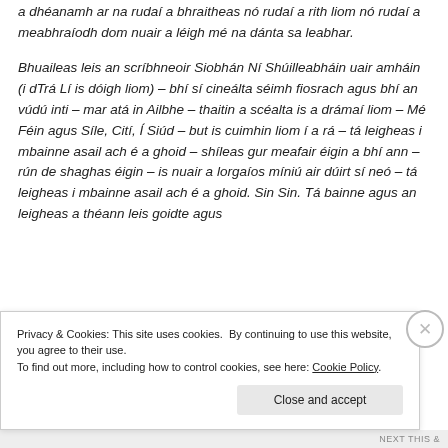a dhéanamh ar na rudaí a bhraitheas nó rudaí a rith liom nó rudaí a meabhraíodh dom nuair a léigh mé na dánta sa leabhar.
Bhuaileas leis an scríbhneoir Siobhán Ní Shúilleabháin uair amháin (i dTrá Lí is dóigh liom) – bhí sí cineálta séimh fiosrach agus bhí an vúdú inti – mar atá in Ailbhe – thaitin a scéalta is a drámaí liom – Mé Féin agus Síle, Cití, Í Siúd – but is cuimhin liom í a rá – tá leigheas i mbainne asail ach é a ghoid – shíleas gur meafair éigin a bhí ann – rún de shaghas éigin – is nuair a lorgaíos míniú air dúirt sí neó – tá leigheas i mbainne asail ach é a ghoid. Sin Sin. Tá bainne agus an leigheas a théann leis goidte agus
Privacy & Cookies: This site uses cookies. By continuing to use this website, you agree to their use.
To find out more, including how to control cookies, see here: Cookie Policy
Close and accept